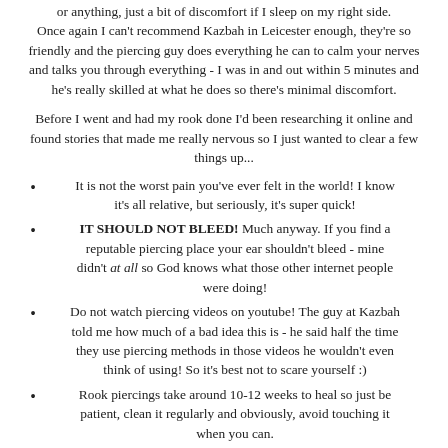or anything, just a bit of discomfort if I sleep on my right side. Once again I can't recommend Kazbah in Leicester enough, they're so friendly and the piercing guy does everything he can to calm your nerves and talks you through everything - I was in and out within 5 minutes and he's really skilled at what he does so there's minimal discomfort.
Before I went and had my rook done I'd been researching it online and found stories that made me really nervous so I just wanted to clear a few things up...
It is not the worst pain you've ever felt in the world! I know it's all relative, but seriously, it's super quick!
IT SHOULD NOT BLEED! Much anyway. If you find a reputable piercing place your ear shouldn't bleed - mine didn't at all so God knows what those other internet people were doing!
Do not watch piercing videos on youtube! The guy at Kazbah told me how much of a bad idea this is - he said half the time they use piercing methods in those videos he wouldn't even think of using! So it's best not to scare yourself :)
Rook piercings take around 10-12 weeks to heal so just be patient, clean it regularly and obviously, avoid touching it when you can.